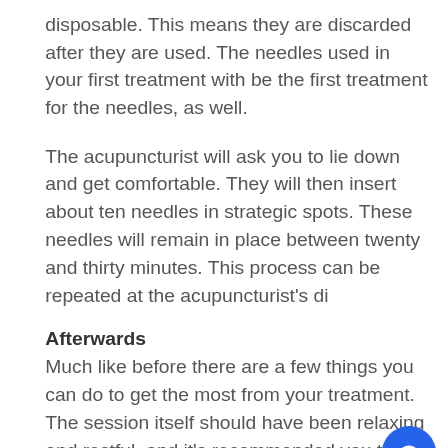disposable. This means they are discarded after they are used. The needles used in your first treatment with be the first treatment for the needles, as well.
The acupuncturist will ask you to lie down and get comfortable. They will then insert about ten needles in strategic spots. These needles will remain in place between twenty and thirty minutes. This process can be repeated at the acupuncturist's di
Afterwards
Much like before there are a few things you can do to get the most from your treatment. The session itself should have been relaxing and restful, and it's recommended you try to elongate that feeling as
[Figure (other): Chat widget popup with female avatar in red top and speech bubble saying 'Hi there, how can I help you today?' plus a blue circular chat button]